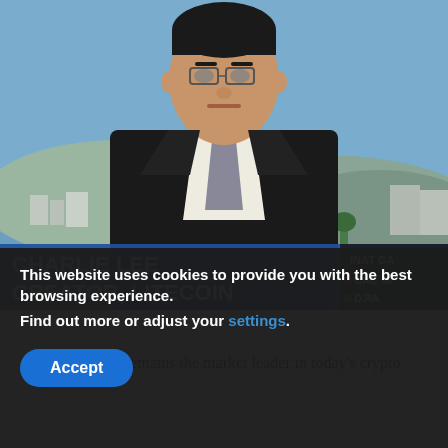[Figure (photo): News broadcast screenshot showing Charlie Lee, Creator of Litecoin, in a dark suit with a blue lower-third chyron identifying him. Background shows a blue sky with mountains. Ticker bar on the right shows INAT GA, CAC 40, and DJIA.]
Though Bitcoin remains the market leader in today's crypto
This website uses cookies to provide you with the best browsing experience.
Find out more or adjust your settings.